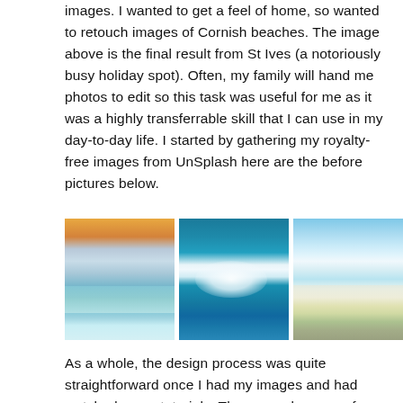images. I wanted to get a feel of home, so wanted to retouch images of Cornish beaches. The image above is the final result from St Ives (a notoriously busy holiday spot). Often, my family will hand me photos to edit so this task was useful for me as it was a highly transferrable skill that I can use in my day-to-day life. I started by gathering my royalty-free images from UnSplash here are the before pictures below.
[Figure (photo): Three beach photos side by side: (left) surfers on turquoise waves with warm sunset sky, (middle) aerial view of a large breaking wave with white foam on deep blue ocean, (right) a sandy beach with people and sea grasses in the foreground under blue sky.]
As a whole, the design process was quite straightforward once I had my images and had watched some tutorials. The general process for each